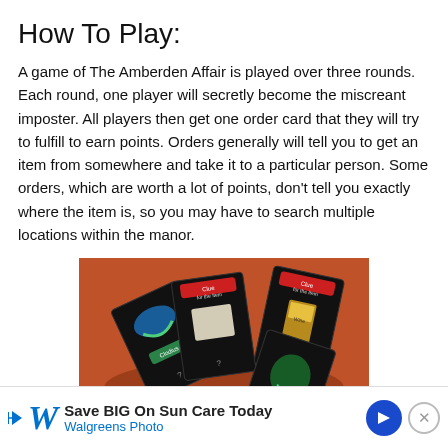How To Play:
A game of The Amberden Affair is played over three rounds. Each round, one player will secretly become the miscreant imposter. All players then get one order card that they will try to fulfill to earn points. Orders generally will tell you to get an item from somewhere and take it to a particular person. Some orders, which are worth a lot of points, don't tell you exactly where the item is, so you may have to search multiple locations within the manor.
[Figure (photo): Photo of five black game cards laid out on a reddish-brown table surface, each card featuring colorful illustrated items and text]
Save BIG On Sun Care Today Walgreens Photo